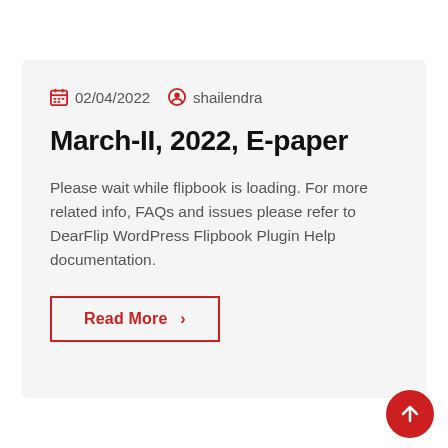02/04/2022   shailendra
March-II, 2022, E-paper
Please wait while flipbook is loading. For more related info, FAQs and issues please refer to DearFlip WordPress Flipbook Plugin Help documentation.
Read More >